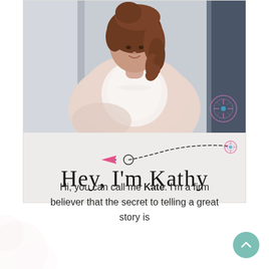[Figure (photo): Photo of a woman with curly brown hair wearing a white lace top and light pink cardigan, cropped at the torso, with a decorative dashed-line arrow and pink airplane icon, and a handwritten-style text 'Hey, I'm Kathy' on a light grey background]
Hi, you can call me Kate. I'm a firm believer that the secret to telling a great story is